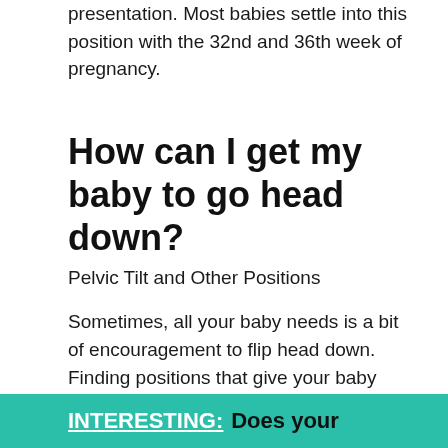presentation. Most babies settle into this position with the 32nd and 36th week of pregnancy.
How can I get my baby to go head down?
Pelvic Tilt and Other Positions
Sometimes, all your baby needs is a bit of encouragement to flip head down. Finding positions that give your baby room can be very simple and may do the trick. Good positions to try include hands and knees, kneeling leaning forward, and lunging.
INTERESTING: Does your